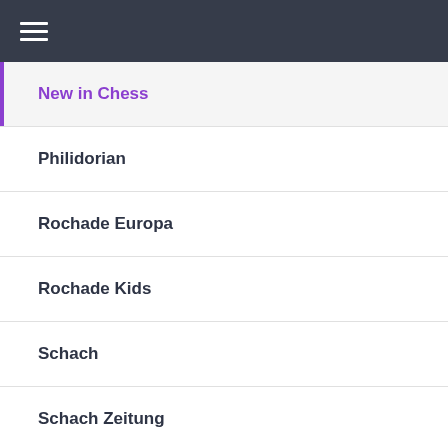☰
New in Chess
Philidorian
Rochade Europa
Rochade Kids
Schach
Schach Zeitung
Schachfreund
Schachmagazin 64